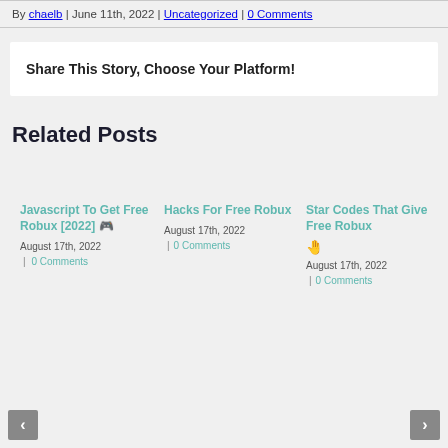By chaelb | June 11th, 2022 | Uncategorized | 0 Comments
Share This Story, Choose Your Platform!
Related Posts
Javascript To Get Free Robux [2022] 🎮
August 17th, 2022 | 0 Comments
Hacks For Free Robux
August 17th, 2022 | 0 Comments
Star Codes That Give Free Robux 🤚
August 17th, 2022 | 0 Comments